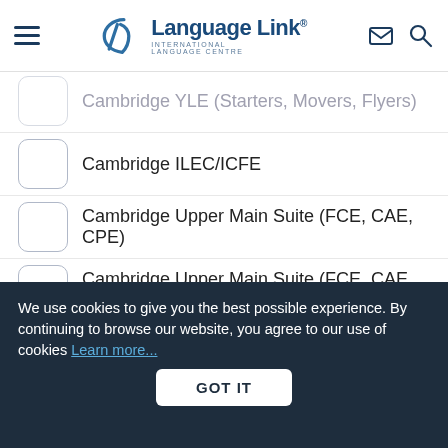Language Link International Language Centre
Cambridge YLE (Starters, Movers, Flyers)
Cambridge ILEC/ICFE
Cambridge Upper Main Suite (FCE, CAE, CPE)
Cambridge Upper Main Suite (FCE, CAE, CPE)
Cambridge BEC
Cambridge BULATS
Other
We use cookies to give you the best possible experience. By continuing to browse our website, you agree to our use of cookies Learn more...